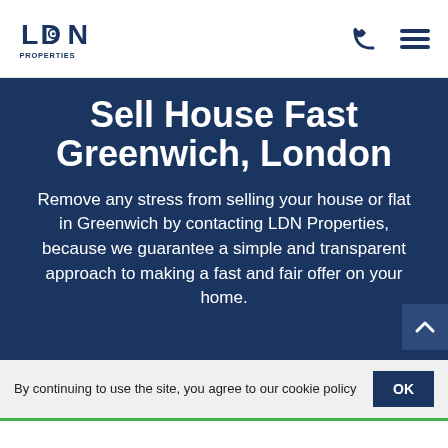LDN PROPERTIES
Sell House Fast Greenwich, London
Remove any stress from selling your house or flat in Greenwich by contacting LDN Properties, because we guarantee a simple and transparent approach to making a fast and fair offer on your home.
By continuing to use the site, you agree to our cookie policy